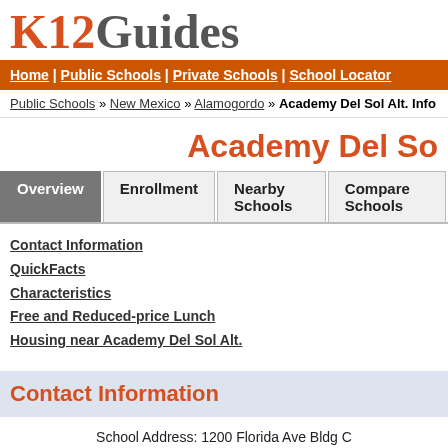K12Guides
Home | Public Schools | Private Schools | School Locator
Public Schools » New Mexico » Alamogordo » Academy Del Sol Alt. Info
Academy Del So
Overview | Enrollment | Nearby Schools | Compare Schools
Contact Information
QuickFacts
Characteristics
Free and Reduced-price Lunch
Housing near Academy Del Sol Alt.
Contact Information
School Address: 1200 Florida Ave Bldg C